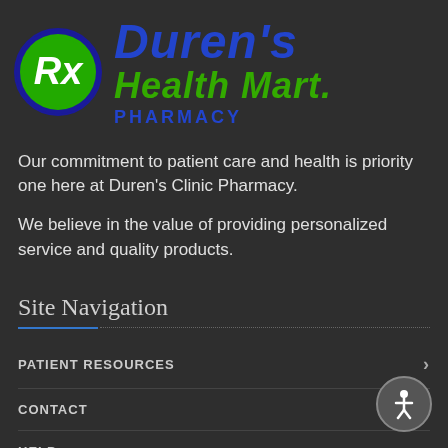[Figure (logo): Duren's Health Mart Pharmacy logo with green circle containing Rx symbol, blue italic Duren's text, green italic Health Mart text, and blue PHARMACY text]
Our commitment to patient care and health is priority one here at Duren's Clinic Pharmacy.
We believe in the value of providing personalized service and quality products.
Site Navigation
PATIENT RESOURCES
CONTACT
HELP